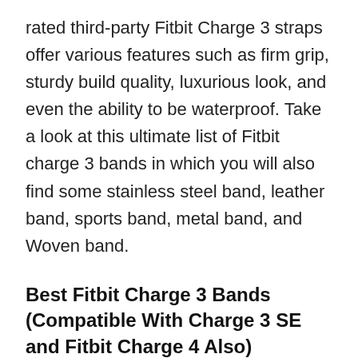rated third-party Fitbit Charge 3 straps offer various features such as firm grip, sturdy build quality, luxurious look, and even the ability to be waterproof. Take a look at this ultimate list of Fitbit charge 3 bands in which you will also find some stainless steel band, leather band, sports band, metal band, and Woven band.
Best Fitbit Charge 3 Bands (Compatible With Charge 3 SE and Fitbit Charge 4 Also)